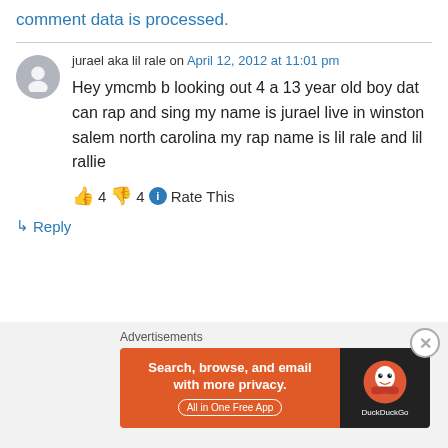comment data is processed.
jurael aka lil rale on April 12, 2012 at 11:01 pm
Hey ymcmb b looking out 4 a 13 year old boy dat can rap and sing my name is jurael live in winston salem north carolina my rap name is lil rale and lil rallie
👍 4 👎 4 ℹ Rate This
↳ Reply
Advertisements
[Figure (screenshot): DuckDuckGo advertisement banner: orange left section with text 'Search, browse, and email with more privacy. All in One Free App' and dark right section with DuckDuckGo duck logo and brand name.]